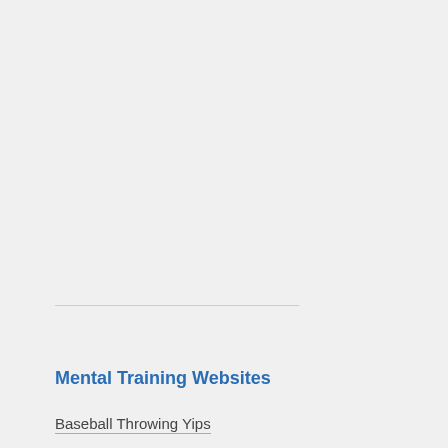Mental Training Websites
Baseball Throwing Yips